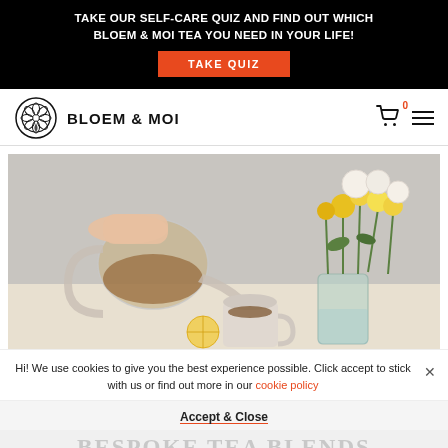TAKE OUR SELF-CARE QUIZ AND FIND OUT WHICH BLOEM & MOI TEA YOU NEED IN YOUR LIFE!
TAKE QUIZ
[Figure (logo): Bloem & Moi brand logo with circular floral emblem and brand name text]
Hi! We use cookies to give you the best experience possible. Click accept to stick with us or find out more in our cookie policy
Accept & Close
[Figure (photo): Person pouring tea from a glass teapot into a mug, with yellow and white flowers in a glass vase on a white surface]
BESPOKE TEA BLENDS